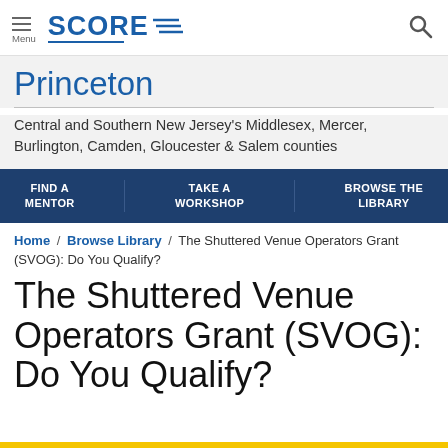Menu | SCORE | [search icon]
Princeton
Central and Southern New Jersey's Middlesex, Mercer, Burlington, Camden, Gloucester & Salem counties
FIND A MENTOR | TAKE A WORKSHOP | BROWSE THE LIBRARY
Home / Browse Library / The Shuttered Venue Operators Grant (SVOG): Do You Qualify?
The Shuttered Venue Operators Grant (SVOG): Do You Qualify?